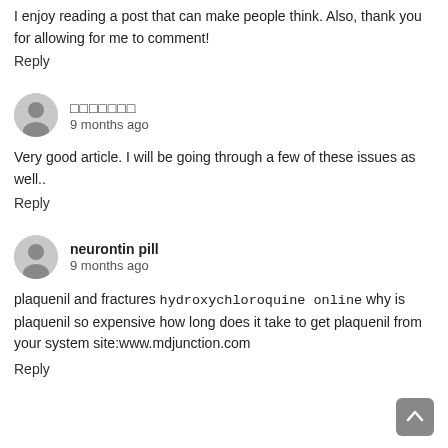I enjoy reading a post that can make people think. Also, thank you for allowing for me to comment!
Reply
□□□□□□□ · 9 months ago
Very good article. I will be going through a few of these issues as well..
Reply
neurontin pill · 9 months ago
plaquenil and fractures hydroxychloroquine online why is plaquenil so expensive how long does it take to get plaquenil from your system site:www.mdjunction.com
Reply